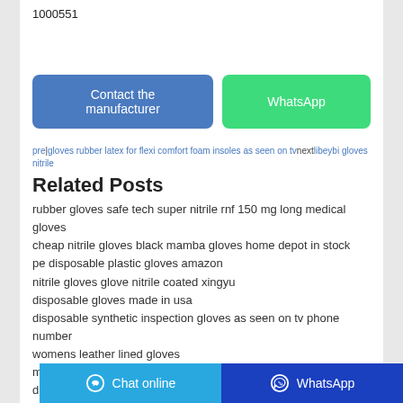1000551
Contact the manufacturer | WhatsApp
prev gloves rubber latex for flexi comfort foam insoles as seen on tv next libeybi gloves nitrile
Related Posts
rubber gloves safe tech super nitrile rnf 150 mg long medical gloves
cheap nitrile gloves black mamba gloves home depot in stock
pe disposable plastic gloves amazon
nitrile gloves glove nitrile coated xingyu
disposable gloves made in usa
disposable synthetic inspection gloves as seen on tv phone number
womens leather lined gloves
medical violet glove pattern
disposable workout gloves as seen on tv phone number
black widow powder free nitrile medical exam gloves
Chat online | WhatsApp